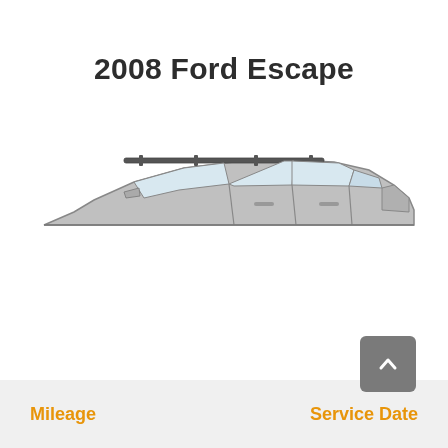2008 Ford Escape
[Figure (photo): Side profile view of a 2008 Ford Escape SUV, showing the top portion of the vehicle including roof, windows, and roof rails against a white background.]
Mileage   Service Date